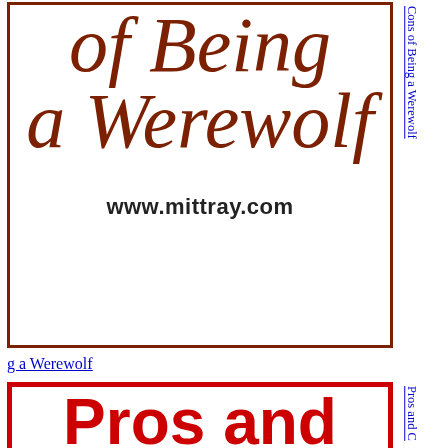[Figure (illustration): Partial view of a book/post card with dark red border showing the bottom of the title 'of Being a Werewolf' in italic dark red serif font and the URL www.mittray.com in bold black]
g a Werewolf
[Figure (illustration): Card with red border showing large bold red text reading 'Pros and Cons of Being a Vampire']
Pros and Cons of Being a Vampire